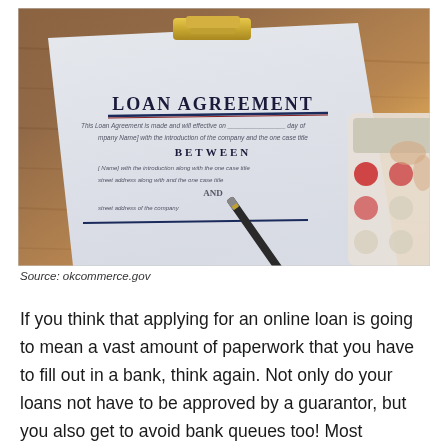[Figure (photo): A loan agreement document on a clipboard with a pen resting on it and a calculator partially visible to the right. The document shows 'LOAN AGREEMENT' as heading with 'BETWEEN' below, on a wooden table background with warm orange light in upper right corner.]
Source: okcommerce.gov
If you think that applying for an online loan is going to mean a vast amount of paperwork that you have to fill out in a bank, think again. Not only do your loans not have to be approved by a guarantor, but you also get to avoid bank queues too! Most financial lending businesses that work